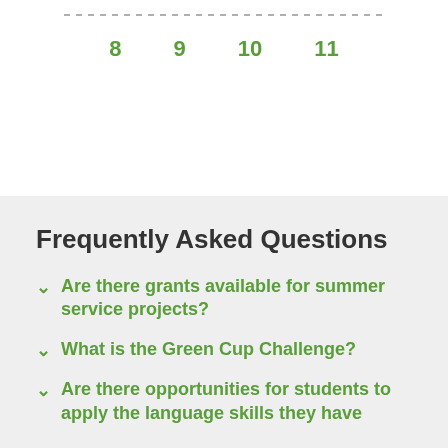8
9
10
11
Frequently Asked Questions
Are there grants available for summer service projects?
What is the Green Cup Challenge?
Are there opportunities for students to apply the language skills they have